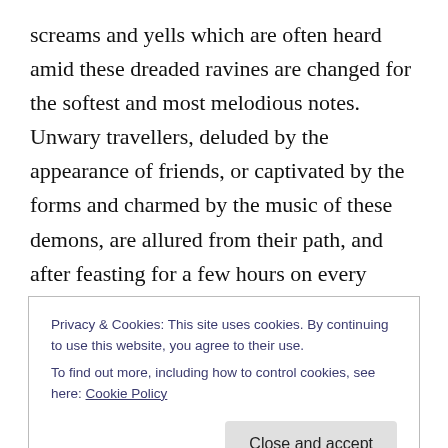screams and yells which are often heard amid these dreaded ravines are changed for the softest and most melodious notes. Unwary travellers, deluded by the appearance of friends, or captivated by the forms and charmed by the music of these demons, are allured from their path, and after feasting for a few hours on every luxury, are consigned to destruction.

The number of these ghools has greatly decreased since the birth of the Prophet, and they have no power to hurt those who pronounce his name in sincerity of faith. These
Privacy & Cookies: This site uses cookies. By continuing to use this website, you agree to their use.
To find out more, including how to control cookies, see here: Cookie Policy
Close and accept